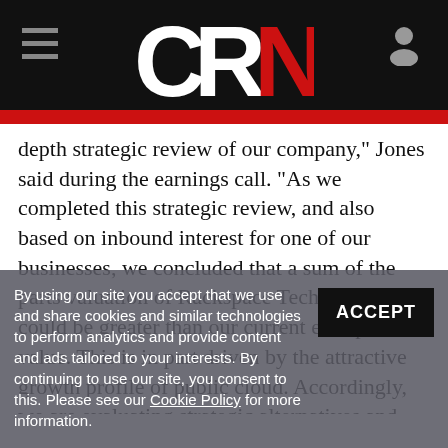CRN
depth strategic review of our company," Jones said during the earnings call. "As we completed this strategic review, and also based on inbound interest for one of our businesses, we concluded that a sum of the parts valuation of Rackspace Technology could be greater than our current enterprise value. This is in part driven by the attractive growth profile of public cloud. Accordingly, we are evaluating strategic alternatives and options."
By using our site you accept that we use and share cookies and similar technologies to perform analytics and provide content and ads tailored to your interests. By continuing to use our site, you consent to this. Please see our Cookie Policy for more information.